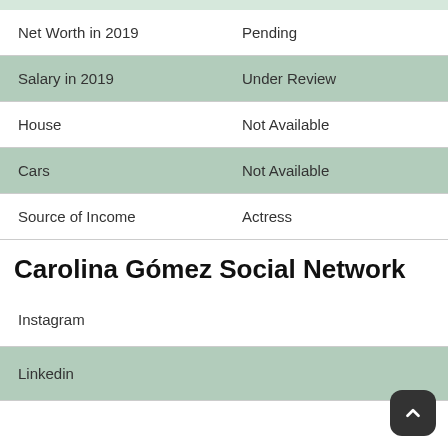| Category | Value |
| --- | --- |
| Net Worth in 2019 | Pending |
| Salary in 2019 | Under Review |
| House | Not Available |
| Cars | Not Available |
| Source of Income | Actress |
Carolina Gómez Social Network
| Platform |  |
| --- | --- |
| Instagram |  |
| Linkedin |  |